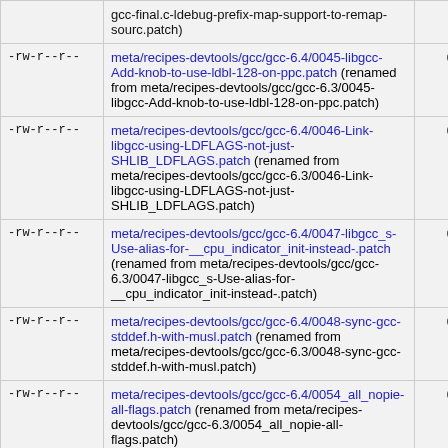| permissions | file path | size |
| --- | --- | --- |
| -rw-r--r-- | gcc-final.c-ldebug-prefix-map-support-to-remap-sourc.patch) [partial/truncated at top] |  |
| -rw-r--r-- | meta/recipes-devtools/gcc/gcc-6.4/0045-libgcc-Add-knob-to-use-ldbl-128-on-ppc.patch (renamed from meta/recipes-devtools/gcc/gcc-6.3/0045-libgcc-Add-knob-to-use-ldbl-128-on-ppc.patch) | 0 |
| -rw-r--r-- | meta/recipes-devtools/gcc/gcc-6.4/0046-Link-libgcc-using-LDFLAGS-not-just-SHLIB_LDFLAGS.patch (renamed from meta/recipes-devtools/gcc/gcc-6.3/0046-Link-libgcc-using-LDFLAGS-not-just-SHLIB_LDFLAGS.patch) | 0 |
| -rw-r--r-- | meta/recipes-devtools/gcc/gcc-6.4/0047-libgcc_s-Use-alias-for-__cpu_indicator_init-instead-.patch (renamed from meta/recipes-devtools/gcc/gcc-6.3/0047-libgcc_s-Use-alias-for-__cpu_indicator_init-instead-.patch) | 0 |
| -rw-r--r-- | meta/recipes-devtools/gcc/gcc-6.4/0048-sync-gcc-stddef.h-with-musl.patch (renamed from meta/recipes-devtools/gcc/gcc-6.3/0048-sync-gcc-stddef.h-with-musl.patch) | 0 |
| -rw-r--r-- | meta/recipes-devtools/gcc/gcc-6.4/0054_all_nopie-all-flags.patch (renamed from meta/recipes-devtools/gcc/gcc-6.3/0054_all_nopie-all-flags.patch) | 0 |
|  | meta/recipes-devtools/gcc/gcc-6.4/CVE- |  |